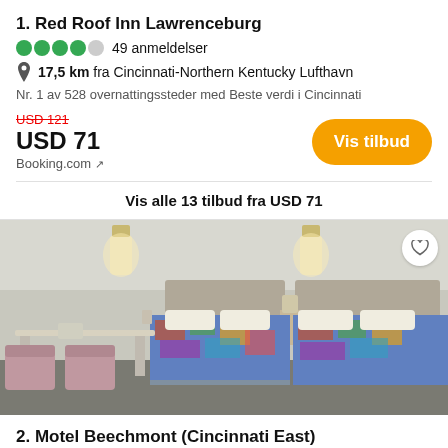1. Red Roof Inn Lawrenceburg
●●●●○ 49 anmeldelser
17,5 km fra Cincinnati-Northern Kentucky Lufthavn
Nr. 1 av 528 overnattingssteder med Beste verdi i Cincinnati
USD 121
USD 71
Booking.com ↗
Vis tilbud
Vis alle 13 tilbud fra USD 71
[Figure (photo): Hotel room interior showing two beds with colorful patterned bedspreads, wall-mounted lights, a small table with pink chairs, and a telephone on a bedside table.]
2. Motel Beechmont (Cincinnati East)